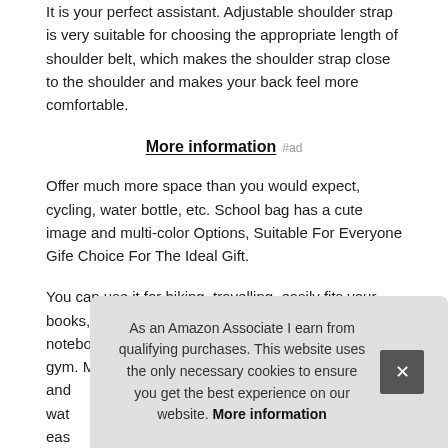It is your perfect assistant. Adjustable shoulder strap is very suitable for choosing the appropriate length of shoulder belt, which makes the shoulder strap close to the shoulder and makes your back feel more comfortable.
More information #ad
Offer much more space than you would expect, cycling, water bottle, etc. School bag has a cute image and multi-color Options, Suitable For Everyone Gife Choice For The Ideal Gift.
You can use it for hiking, travelling, easily fits your books, camping, climbing, laptop, pens and notebook, walking, shoes and clothes, fishing and the gym. Made of high quality fabrics and waterproof easily tear
As an Amazon Associate I earn from qualifying purchases. This website uses the only necessary cookies to ensure you get the best experience on our website. More information